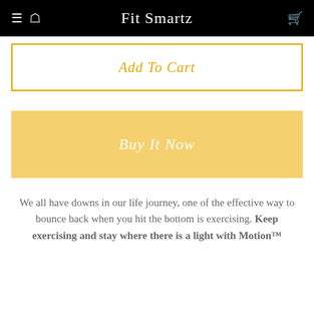Fit Smartz
Add To Cart
Buy It Now
We all have downs in our life journey, one of the effective way to bounce back when you hit the bottom is exercising. Keep exercising and stay where there is a light with Motion™